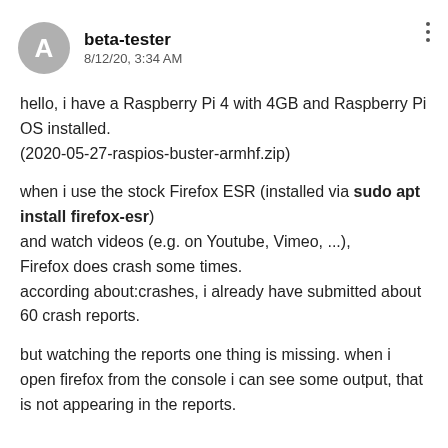beta-tester 8/12/20, 3:34 AM
hello, i have a Raspberry Pi 4 with 4GB and Raspberry Pi OS installed.
(2020-05-27-raspios-buster-armhf.zip)
when i use the stock Firefox ESR (installed via sudo apt install firefox-esr)
and watch videos (e.g. on Youtube, Vimeo, ...),
Firefox does crash some times.
according about:crashes, i already have submitted about 60 crash reports.
but watching the reports one thing is missing. when i open firefox from the console i can see some output, that is not appearing in the reports.